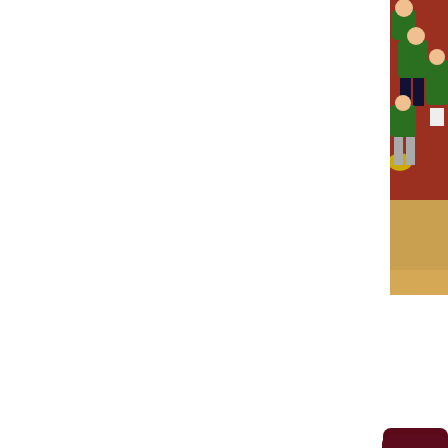[Figure (photo): Photo of children sitting on bleachers or steps, wearing green shirts, in a gymnasium or auditorium setting. The image is cropped showing the right portion.]
[Figure (infographic): Dark maroon/burgundy box containing three social media icons stacked vertically: Facebook (blue), Twitter (light blue), and Blogger (orange).]
What is CHA